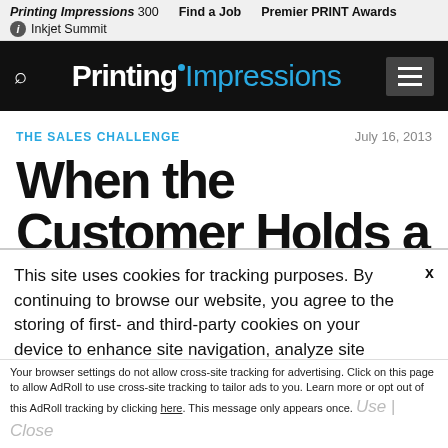Printing Impressions 300   Find a Job   Premier PRINT Awards   Inkjet Summit
[Figure (logo): Printing Impressions logo — bold white 'Printing' with cyan dot, cyan 'Impressions' on black bar with search icon and hamburger menu]
THE SALES CHALLENGE
July 16, 2013
When the Customer Holds a
This site uses cookies for tracking purposes. By continuing to browse our website, you agree to the storing of first- and third-party cookies on your device to enhance site navigation, analyze site usage, and assist in our marketing and
Accept and Close ✕
Your browser settings do not allow cross-site tracking for advertising. Click on this page to allow AdRoll to use cross-site tracking to tailor ads to you. Learn more or opt out of this AdRoll tracking by clicking here. This message only appears once.